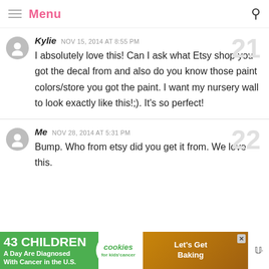Menu
Kylie  NOV 15, 2014 AT 8:55 PM
I absolutely love this! Can I ask what Etsy shop you got the decal from and also do you know those paint colors/store you got the paint. I want my nursery wall to look exactly like this!;). It's so perfect!
Me  NOV 28, 2014 AT 5:31 PM
Bump. Who from etsy did you get it from. We love this.
[Figure (screenshot): Advertisement banner: '43 CHILDREN A Day Are Diagnosed With Cancer in the U.S.' with cookies for kids cancer and Let's Get Baking text]